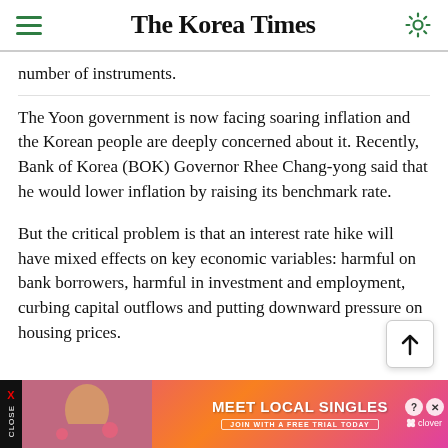The Korea Times
number of instruments.
The Yoon government is now facing soaring inflation and the Korean people are deeply concerned about it. Recently, Bank of Korea (BOK) Governor Rhee Chang-yong said that he would lower inflation by raising its benchmark rate.
But the critical problem is that an interest rate hike will have mixed effects on key economic variables: harmful on bank borrowers, harmful in investment and employment, curbing capital outflows and putting downward pressure on housing prices.
[Figure (infographic): Advertisement banner: MEET LOCAL SINGLES - JOIN WITH A FREE TRIAL TODAY - clover app ad with woman photo, close button on left side]